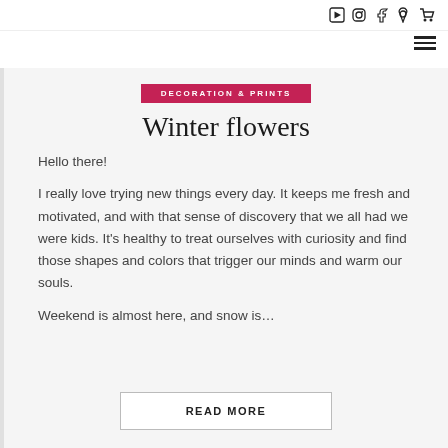Social icons and hamburger menu
DECORATION & PRINTS
Winter flowers
Hello there!
I really love trying new things every day. It keeps me fresh and motivated, and with that sense of discovery that we all had we were kids. It’s healthy to treat ourselves with curiosity and find those shapes and colors that trigger our minds and warm our souls.
Weekend is almost here, and snow is…
READ MORE